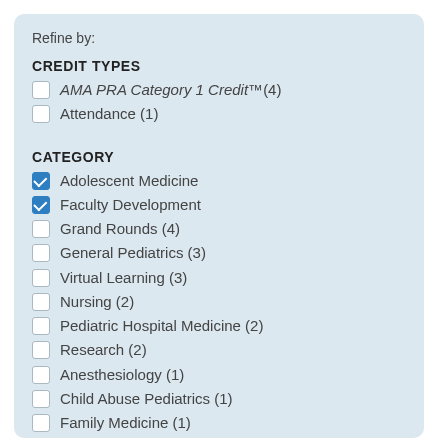Refine by:
CREDIT TYPES
AMA PRA Category 1 Credit™ (4)
Attendance (1)
CATEGORY
Adolescent Medicine
Faculty Development
Grand Rounds (4)
General Pediatrics (3)
Virtual Learning (3)
Nursing (2)
Pediatric Hospital Medicine (2)
Research (2)
Anesthesiology (1)
Child Abuse Pediatrics (1)
Family Medicine (1)